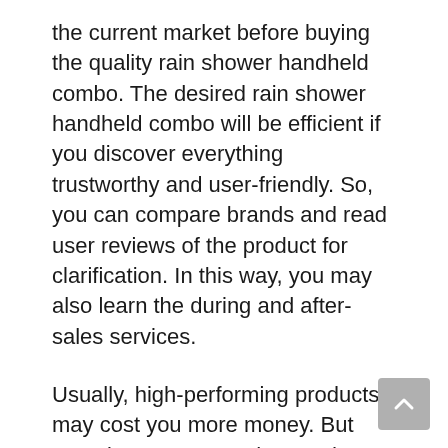the current market before buying the quality rain shower handheld combo. The desired rain shower handheld combo will be efficient if you discover everything trustworthy and user-friendly. So, you can compare brands and read user reviews of the product for clarification. In this way, you may also learn the during and after-sales services.
Usually, high-performing products may cost you more money. But extra investment on that product may ensure you get the best performance and after-sales service. However, some manufacturers can be new to the market with a short history, except for the thoughts. They can also offer their best to compete and win the market.